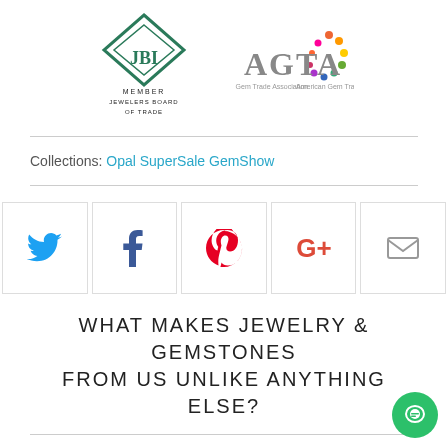[Figure (logo): JBT Member Jewelers Board of Trade logo and AGTA American Gems Trade Association logo side by side]
Collections: Opal SuperSale GemShow
[Figure (infographic): Social share buttons: Twitter (blue bird), Facebook (dark blue f), Pinterest (red P), Google+ (red G+), Email (envelope)]
WHAT MAKES JEWELRY & GEMSTONES FROM US UNLIKE ANYTHING ELSE?
Our family has over 30 years of experience in the jewelry and gemstone business. Most of gemstones you see are cut by Steve Moriarty and all the jewelry designs were